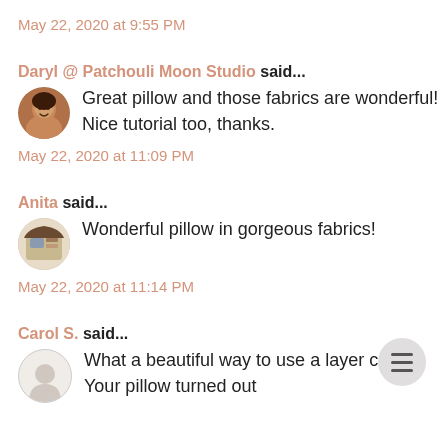May 22, 2020 at 9:55 PM
Daryl @ Patchouli Moon Studio said...
Great pillow and those fabrics are wonderful! Nice tutorial too, thanks.
May 22, 2020 at 11:09 PM
Anita said...
Wonderful pillow in gorgeous fabrics!
May 22, 2020 at 11:14 PM
Carol S. said...
What a beautiful way to use a layer cake. Your pillow turned out